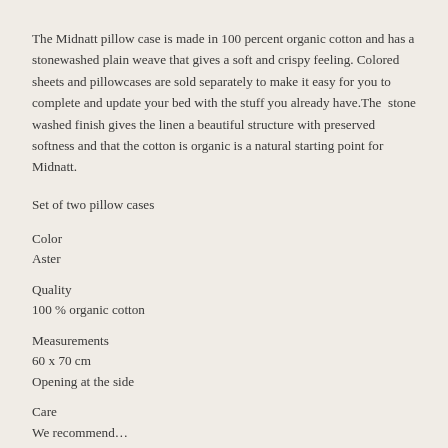The Midnatt pillow case is made in 100 percent organic cotton and has a stonewashed plain weave that gives a soft and crispy feeling. Colored sheets and pillowcases are sold separately to make it easy for you to complete and update your bed with the stuff you already have.The  stone washed finish gives the linen a beautiful structure with preserved softness and that the cotton is organic is a natural starting point for Midnatt.
Set of two pillow cases
Color
Aster
Quality
100 % organic cotton
Measurements
60 x 70 cm
Opening at the side
Care
We recommend...